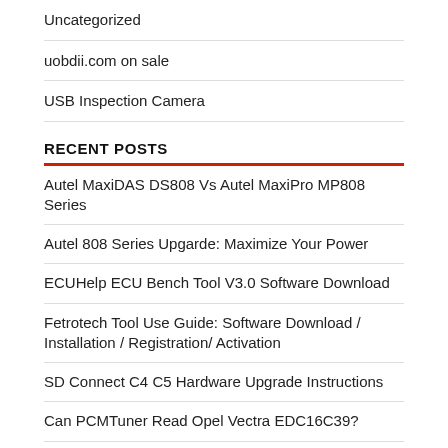Uncategorized
uobdii.com on sale
USB Inspection Camera
RECENT POSTS
Autel MaxiDAS DS808 Vs Autel MaxiPro MP808 Series
Autel 808 Series Upgarde: Maximize Your Power
ECUHelp ECU Bench Tool V3.0 Software Download
Fetrotech Tool Use Guide: Software Download / Installation / Registration/ Activation
SD Connect C4 C5 Hardware Upgrade Instructions
Can PCMTuner Read Opel Vectra EDC16C39?
How to Flash Autel Maxisys MS906
How to Calibrate Xhorse Dolphin XP-008 Key Cutting Machine